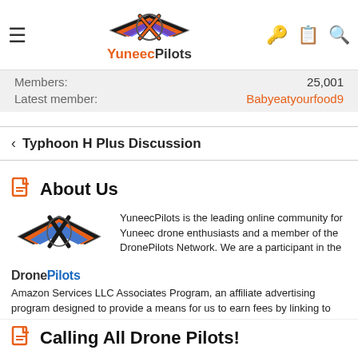YuneecPilots
Members: 25,001
Latest member: Babyeatyourfood9
Typhoon H Plus Discussion
About Us
[Figure (logo): DronePilots network logo with wings and X emblem]
YuneecPilots is the leading online community for Yuneec drone enthusiasts and a member of the DronePilots Network. We are a participant in the Amazon Services LLC Associates Program, an affiliate advertising program designed to provide a means for us to earn fees by linking to Amazon.com and affiliated sites.
Calling All Drone Pilots!